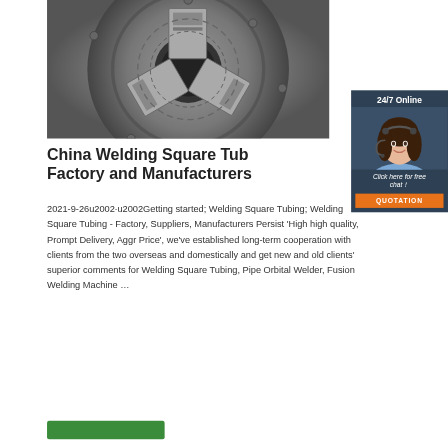[Figure (photo): Close-up photo of a metal lathe chuck with steel jaws, showing industrial machining equipment]
[Figure (photo): 24/7 Online chat widget with a smiling female customer service agent wearing a headset, dark blue background panel with orange QUOTATION button]
China Welding Square Tubing Factory and Manufacturers
2021-9-26u2002·u2002Getting started; Welding Square Tubing; Welding Square Tubing - Factory, Suppliers, Manufacturers Persistent 'High high quality, Prompt Delivery, Aggressive Price', we've established long-term cooperation with clients from the two overseas and domestically and get new and old clients' superior comments for Welding Square Tubing, Pipe Orbital Welder, Fusion Welding Machine …